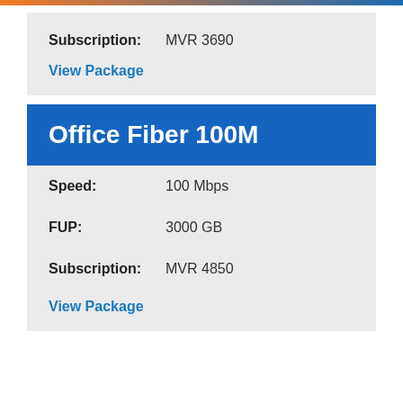Subscription: MVR 3690
View Package
Office Fiber 100M
Speed: 100 Mbps
FUP: 3000 GB
Subscription: MVR 4850
View Package